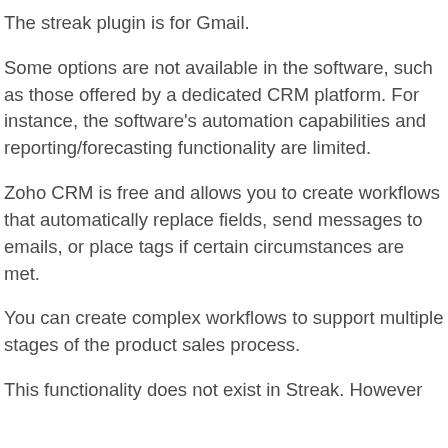The streak plugin is for Gmail.
Some options are not available in the software, such as those offered by a dedicated CRM platform. For instance, the software's automation capabilities and reporting/forecasting functionality are limited.
Zoho CRM is free and allows you to create workflows that automatically replace fields, send messages to emails, or place tags if certain circumstances are met.
You can create complex workflows to support multiple stages of the product sales process.
This functionality does not exist in Streak. However